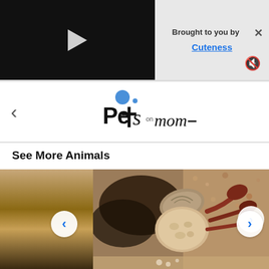[Figure (screenshot): Video player with dark background and white play button triangle]
Brought to you by
Cuteness
[Figure (logo): Pets on Mom logo with blue circle dot above letter P]
See More Animals
[Figure (photo): Close-up photo of a hermit crab on sandy/pebbly ground with navigation arrows on sides]